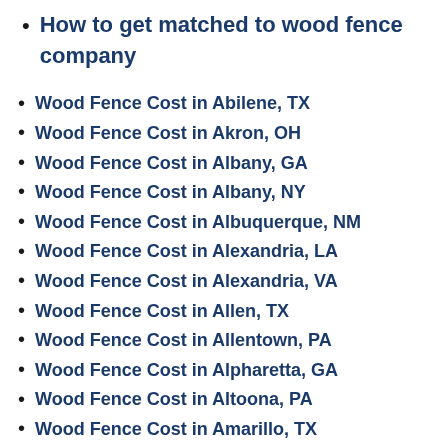How to get matched to wood fence company
Wood Fence Cost in Abilene, TX
Wood Fence Cost in Akron, OH
Wood Fence Cost in Albany, GA
Wood Fence Cost in Albany, NY
Wood Fence Cost in Albuquerque, NM
Wood Fence Cost in Alexandria, LA
Wood Fence Cost in Alexandria, VA
Wood Fence Cost in Allen, TX
Wood Fence Cost in Allentown, PA
Wood Fence Cost in Alpharetta, GA
Wood Fence Cost in Altoona, PA
Wood Fence Cost in Amarillo, TX